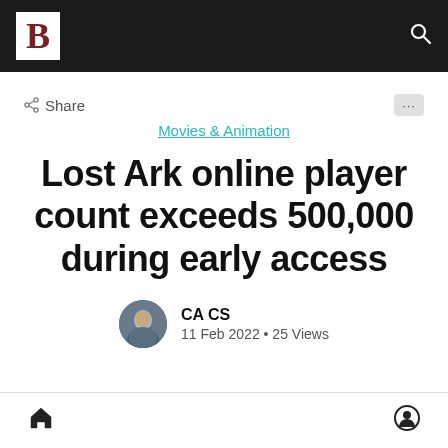B [logo] | Search
< Share
Movies & Animation
Lost Ark online player count exceeds 500,000 during early access
CA CS
11 Feb 2022 • 25 Views
Home | Profile